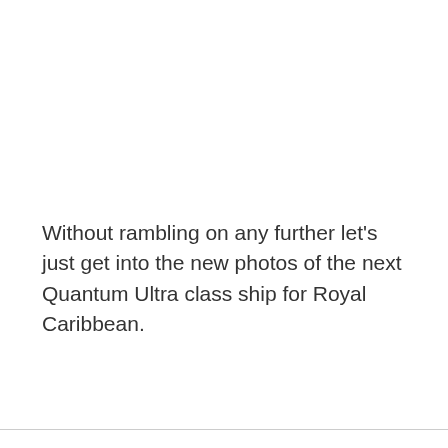Without rambling on any further let's just get into the new photos of the next Quantum Ultra class ship for Royal Caribbean.